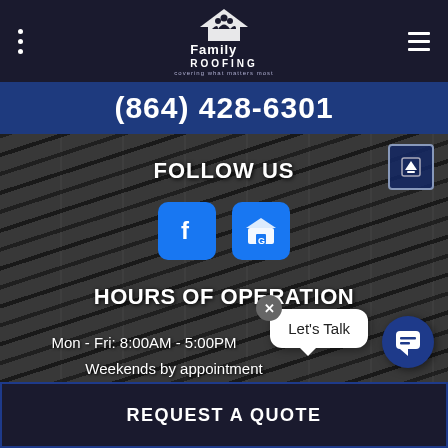[Figure (logo): Family Roofing logo with house/roof icon and tagline 'covering what matters most']
(864) 428-6301
FOLLOW US
[Figure (screenshot): Facebook and Google My Business social media icon buttons]
HOURS OF OPERATION
Mon - Fri: 8:00AM - 5:00PM
Weekends by appointment
Let's Talk
REQUEST A QUOTE